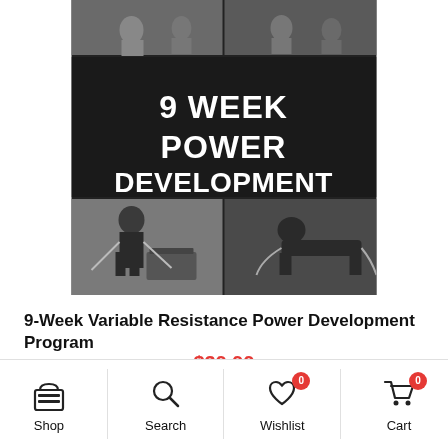[Figure (photo): 9-Week Power Development program product image showing athletes doing strength and resistance training exercises. Dark overlay text reads '9 WEEK POWER DEVELOPMENT'. Four quadrant gym photos with athletes training.]
9-Week Variable Resistance Power Development Program
$39.99
Add To Cart
Shop | Search | Wishlist 0 | Cart 0